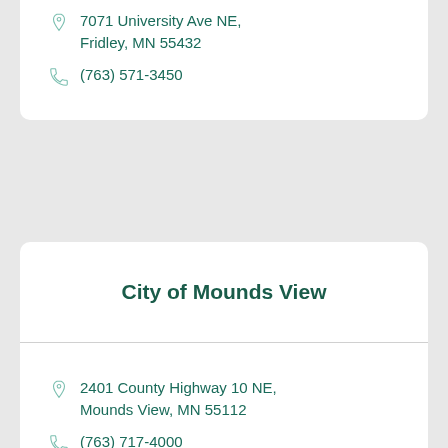7071 University Ave NE, Fridley, MN 55432
(763) 571-3450
City of Mounds View
2401 County Highway 10 NE, Mounds View, MN 55112
(763) 717-4000